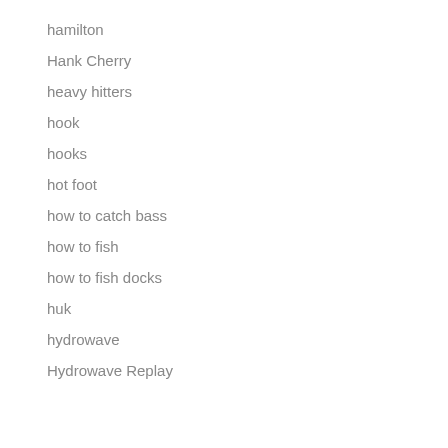hamilton
Hank Cherry
heavy hitters
hook
hooks
hot foot
how to catch bass
how to fish
how to fish docks
huk
hydrowave
Hydrowave Replay